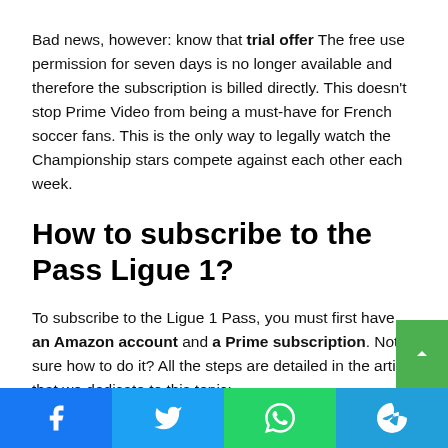Bad news, however: know that trial offer The free use permission for seven days is no longer available and therefore the subscription is billed directly. This doesn't stop Prime Video from being a must-have for French soccer fans. This is the only way to legally watch the Championship stars compete against each other each week.
How to subscribe to the Pass Ligue 1?
To subscribe to the Ligue 1 Pass, you must first have an Amazon account and a Prime subscription. Not sure how to do it? All the steps are detailed in the article that we dedicate to this topic: